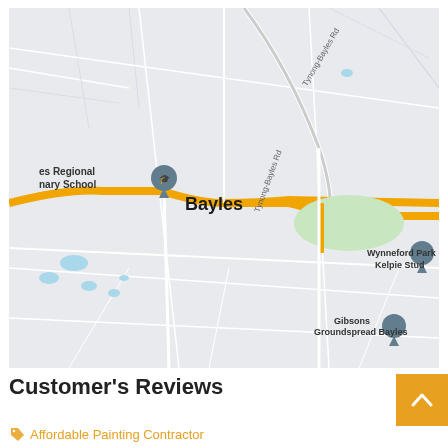[Figure (map): Google Maps view of Bayles area showing roads including Tynong-Bayles Rd, a location pin for 'es Regional nary School', Bayles town label, Wynneford Park Kelpie Stud location, and Gibsons Groundspread Bayles location. Yellow roads indicate main routes through the area. Light green patch visible near center.]
Customer's Reviews
Affordable Painting Contractor